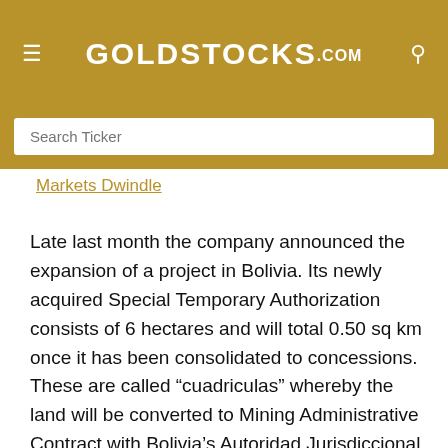GOLDSTOCKS.COM
Search Ticker
Markets Dwindle
Late last month the company announced the expansion of a project in Bolivia. Its newly acquired Special Temporary Authorization consists of 6 hectares and will total 0.50 sq km once it has been consolidated to concessions. These are called “cuadriculas” whereby the land will be converted to Mining Administrative Contract with Bolivia’s Autoridad Jurisdiccional Administrativa Minera.